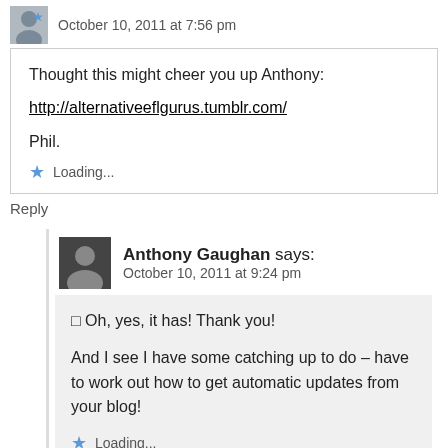October 10, 2011 at 7:56 pm
Thought this might cheer you up Anthony:

http://alternativeeflgurus.tumblr.com/

Phil.
Loading...
Reply
Anthony Gaughan says:
October 10, 2011 at 9:24 pm
□ Oh, yes, it has! Thank you!

And I see I have some catching up to do – have to work out how to get automatic updates from your blog!
Loading...